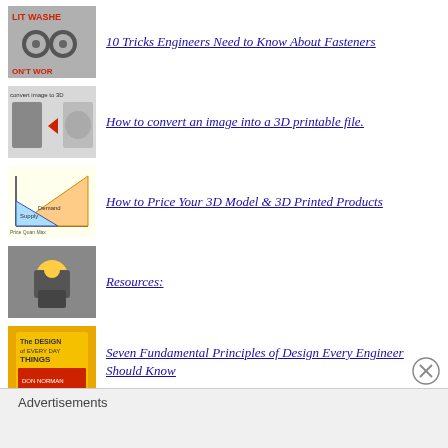10 Tricks Engineers Need to Know About Fasteners
How to convert an image into a 3D printable file.
How to Price Your 3D Model & 3D Printed Products
Resources:
Seven Fundamental Principles of Design Every Engineer Should Know
Effect of Acetone Vapor Polishing on 3D Printed ABS Parts
Filament Fuser Electronics & Hardware Kit
Advertisements